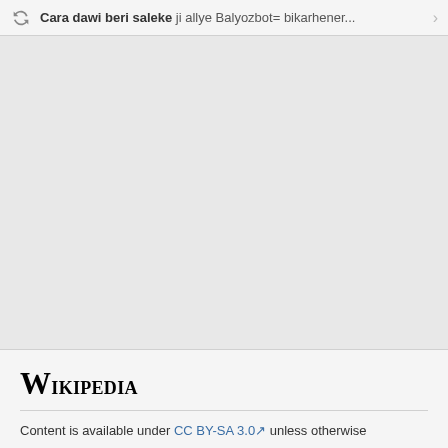Cara dawi beri saleke ji allye Balyozbot= bikarhener...
[Figure (other): Large empty gray area representing blank content space]
Wikipedia
Content is available under CC BY-SA 3.0 unless otherwise